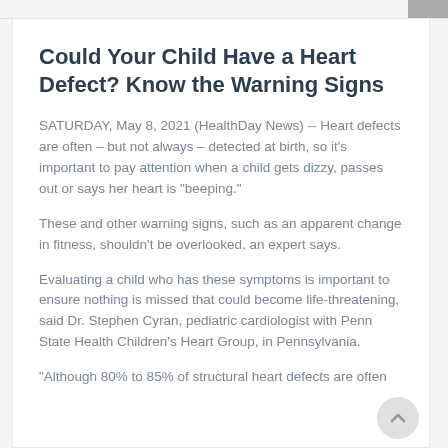Could Your Child Have a Heart Defect? Know the Warning Signs
SATURDAY, May 8, 2021 (HealthDay News) -- Heart defects are often – but not always – detected at birth, so it's important to pay attention when a child gets dizzy, passes out or says her heart is "beeping."
These and other warning signs, such as an apparent change in fitness, shouldn't be overlooked, an expert says.
Evaluating a child who has these symptoms is important to ensure nothing is missed that could become life-threatening, said Dr. Stephen Cyran, pediatric cardiologist with Penn State Health Children's Heart Group, in Pennsylvania.
"Although 80% to 85% of structural heart defects are often